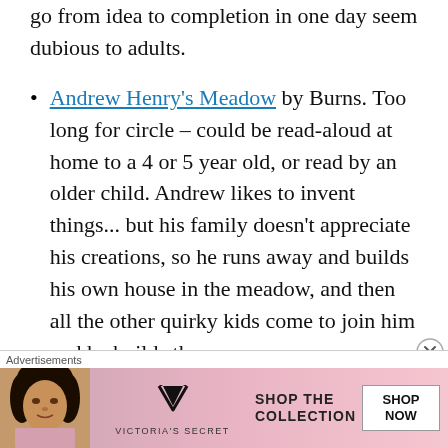the fact that the entire project appears to go from idea to completion in one day seem dubious to adults.
Andrew Henry's Meadow by Burns. Too long for circle – could be read-aloud at home to a 4 or 5 year old, or read by an older child. Andrew likes to invent things... but his family doesn't appreciate his creations, so he runs away and builds his own house in the meadow, and then all the other quirky kids come to join him and he builds the
[Figure (other): Victoria's Secret advertisement banner with a model, VS logo, 'SHOP THE COLLECTION' text, and 'SHOP NOW' button]